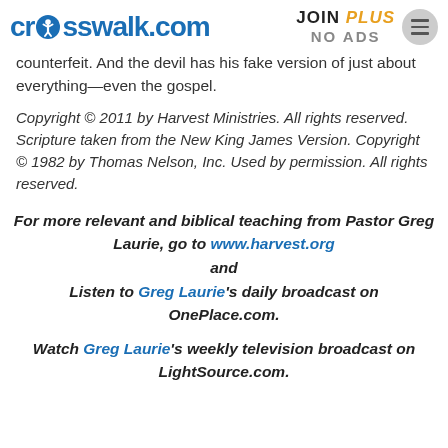crosswalk.com | JOIN PLUS NO ADS
counterfeit. And the devil has his fake version of just about everything—even the gospel.
Copyright © 2011 by Harvest Ministries. All rights reserved.
Scripture taken from the New King James Version. Copyright © 1982 by Thomas Nelson, Inc. Used by permission. All rights reserved.
For more relevant and biblical teaching from Pastor Greg Laurie, go to www.harvest.org and Listen to Greg Laurie's daily broadcast on OnePlace.com.
Watch Greg Laurie's weekly television broadcast on LightSource.com.